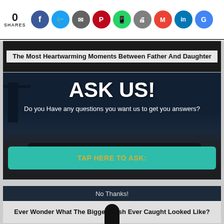0 SHARES
The Most Heartwarming Moments Between Father And Daughter
[Figure (photo): Dark background photo showing a beach/pier scene with a group of people, overlaid with a modal dialog popup]
ASK US!
Do you Have any questions you want us to get you answers?
TAP HERE TO ASK:
No Thanks!
Ever Wonder What The Biggest Fish Ever Caught Looked Like?
[Figure (photo): Three-panel photo strip at bottom: left panel shows dark purplish tones, center shows a dark silhouette figure, right shows a warm brown/tan frame]